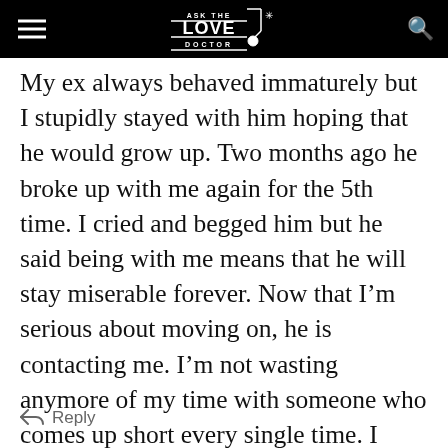ASK THE LOVE DOCTOR
My ex always behaved immaturely but I stupidly stayed with him hoping that he would grow up. Two months ago he broke up with me again for the 5th time. I cried and begged him but he said being with me means that he will stay miserable forever. Now that I’m serious about moving on, he is contacting me. I’m not wasting anymore of my time with someone who comes up short every single time. I made the mistake of trying to change a man but never again.
Reply